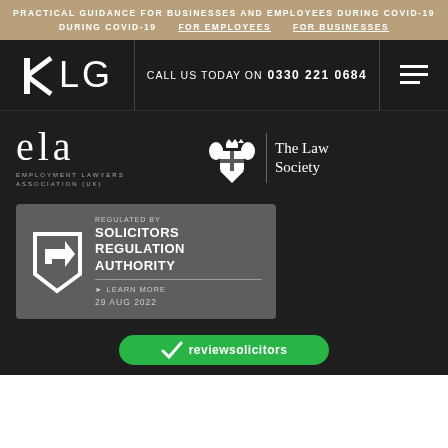PRACTICAL GUIDANCE FOR BUSINESSES AND EMPLOYEES DURING COVID-19   FOR EMPLOYEES   FOR BUSINESSES
[Figure (logo): KLG law firm logo with phone number: CALL US TODAY ON 0330 221 0684]
[Figure (logo): ela (Employment Lawyers Association UK) logo]
[Figure (logo): The Law Society crest and text logo]
[Figure (logo): Regulated by Solicitors Regulation Authority badge, LEARN MORE, 29 AUG 2022]
[Figure (logo): reviewsolicitors green rounded bar logo]